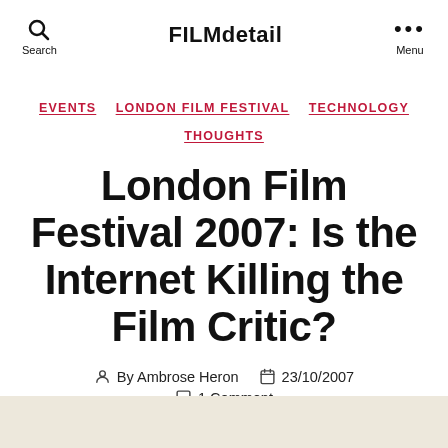FILMdetail
EVENTS  LONDON FILM FESTIVAL  TECHNOLOGY  THOUGHTS
London Film Festival 2007: Is the Internet Killing the Film Critic?
By Ambrose Heron  23/10/2007  1 Comment